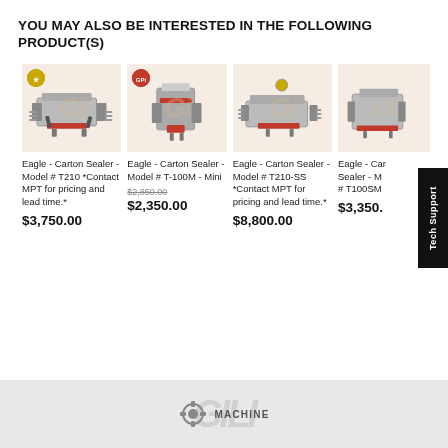YOU MAY ALSO BE INTERESTED IN THE FOLLOWING PRODUCT(S)
[Figure (photo): Eagle Carton Sealer Model T210 product image on light background with watermark]
Eagle - Carton Sealer - Model # T210 *Contact MPT for pricing and lead time.*
$3,750.00
[Figure (photo): Eagle Carton Sealer Model T-100M Mini product image on light background with watermark]
Eagle - Carton Sealer - Model # T-100M - Mini
$2,850.00
$2,350.00
[Figure (photo): Eagle Carton Sealer Model T210-SS product image on light background with watermark]
Eagle - Carton Sealer - Model # T210-SS *Contact MPT for pricing and lead time.*
$8,800.00
[Figure (photo): Eagle Carton Sealer Model T100SM product image on light background with watermark]
Eagle - Carton Sealer - Model # T100SM
$3,350.
MACHINE